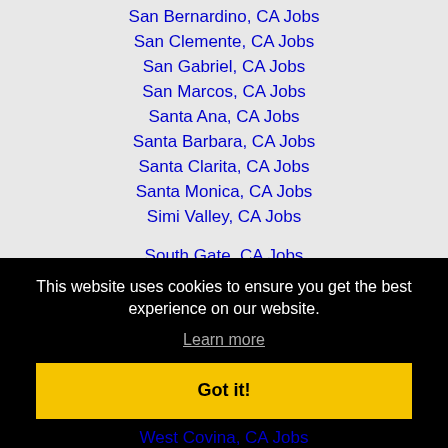San Bernardino, CA Jobs
San Clemente, CA Jobs
San Gabriel, CA Jobs
San Marcos, CA Jobs
Santa Ana, CA Jobs
Santa Barbara, CA Jobs
Santa Clarita, CA Jobs
Santa Monica, CA Jobs
Simi Valley, CA Jobs
South Gate, CA Jobs
This website uses cookies to ensure you get the best experience on our website.
Learn more
Got it!
West Covina, CA Jobs